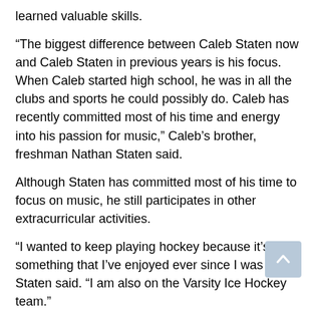learned valuable skills.
“The biggest difference between Caleb Staten now and Caleb Staten in previous years is his focus. When Caleb started high school, he was in all the clubs and sports he could possibly do. Caleb has recently committed most of his time and energy into his passion for music,” Caleb’s brother, freshman Nathan Staten said.
Although Staten has committed most of his time to focus on music, he still participates in other extracurricular activities.
“I wanted to keep playing hockey because it’s something that I’ve enjoyed ever since I was little,” Staten said. “I am also on the Varsity Ice Hockey team.”
To further develop his passions, Staten plans to attend Cedarville University and major in education to pass down the joy of music to future generations.
“I always…